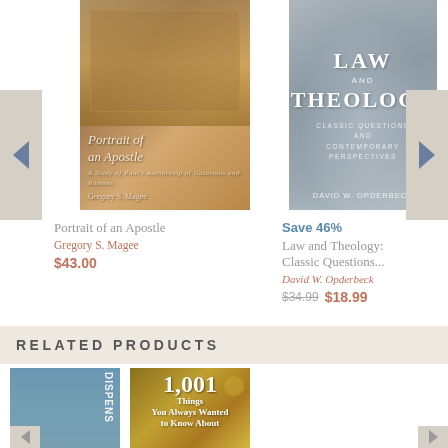[Figure (photo): Book cover: Portrait of an Apostle by Gregory S. Magee]
Portrait of an Apostle
Gregory S. Magee
$43.00
Save 46%
[Figure (photo): Book cover: Law and Theology: Classic Questions and Contemporary Perspectives by David W. Opderbeck]
Law and Theology: Classic Questions... David W. Opderbeck
$34.99  $18.99
RELATED PRODUCTS
[Figure (photo): Book cover: Dispensation (partial title visible)]
[Figure (photo): Book cover: 1,001 Things You Always Wanted to Know About]